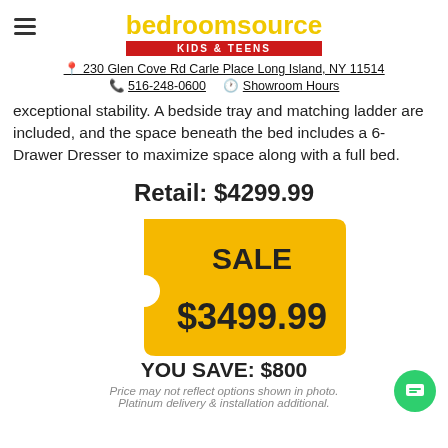[Figure (logo): Bedroom Source Kids & Teens logo with yellow text on white background and red bar beneath]
230 Glen Cove Rd Carle Place Long Island, NY 11514
516-248-0600   Showroom Hours
exceptional stability. A bedside tray and matching ladder are included, and the space beneath the bed includes a 6-Drawer Dresser to maximize space along with a full bed.
Retail: $4299.99
[Figure (infographic): Yellow price tag shape showing SALE $3499.99]
YOU SAVE: $800
Price may not reflect options shown in photo. Platinum delivery & installation additional.